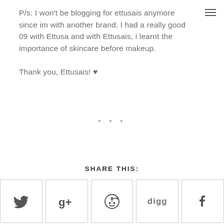P/s: I won't be blogging for ettusais anymore since im with another brand. I had a really good 09 with Ettusa and with Ettusais, i learnt the importance of skincare before makeup.

Thank you, Ettusais! ♥
* * *
SHARE THIS:
[Figure (other): Row of five social media share buttons: Twitter, Google+, Reddit, Digg, Facebook]